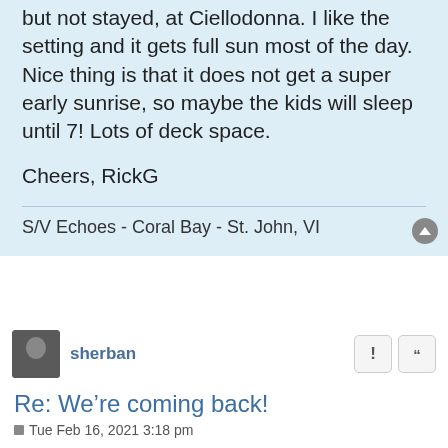but not stayed, at Ciellodonna. I like the setting and it gets full sun most of the day. Nice thing is that it does not get a super early sunrise, so maybe the kids will sleep until 7! Lots of deck space.
Cheers, RickG
S/V Echoes - Coral Bay - St. John, VI
sherban
Re: We’re coming back!
Tue Feb 16, 2021 3:18 pm